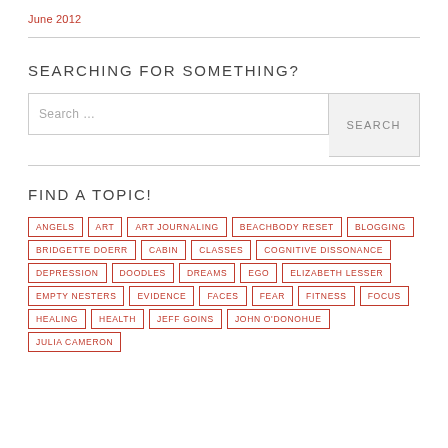June 2012
SEARCHING FOR SOMETHING?
Search …
FIND A TOPIC!
ANGELS
ART
ART JOURNALING
BEACHBODY RESET
BLOGGING
BRIDGETTE DOERR
CABIN
CLASSES
COGNITIVE DISSONANCE
DEPRESSION
DOODLES
DREAMS
EGO
ELIZABETH LESSER
EMPTY NESTERS
EVIDENCE
FACES
FEAR
FITNESS
FOCUS
HEALING
HEALTH
JEFF GOINS
JOHN O'DONOHUE
JULIA CAMERON